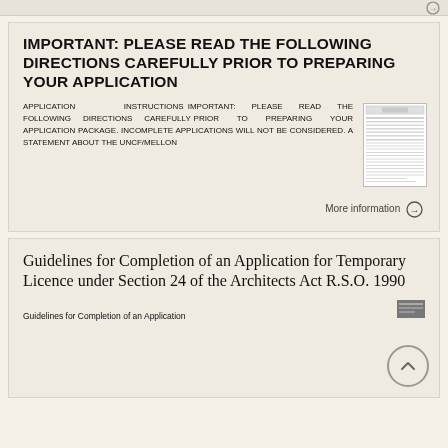IMPORTANT: PLEASE READ THE FOLLOWING DIRECTIONS CAREFULLY PRIOR TO PREPARING YOUR APPLICATION
APPLICATION INSTRUCTIONS IMPORTANT: PLEASE READ THE FOLLOWING DIRECTIONS CAREFULLY PRIOR TO PREPARING YOUR APPLICATION PACKAGE. INCOMPLETE APPLICATIONS WILL NOT BE CONSIDERED. A STATEMENT ABOUT THE UNCF/MELLON
More information →
Guidelines for Completion of an Application for Temporary Licence under Section 24 of the Architects Act R.S.O. 1990
Guidelines for Completion of an Application